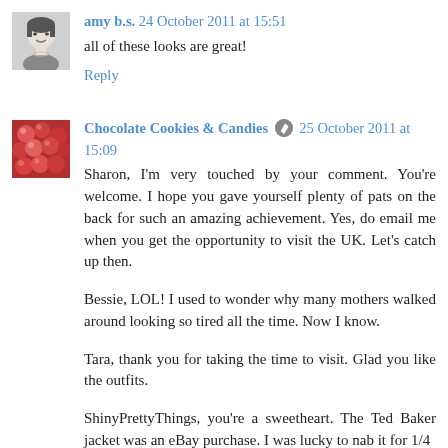[Figure (photo): Black and white avatar photo of a woman (amy b.s.)]
amy b.s. 24 October 2011 at 15:51
all of these looks are great!
Reply
[Figure (photo): Avatar photo showing red/pink round candies or cookies (Chocolate Cookies & Candies)]
Chocolate Cookies & Candies [edit icon] 25 October 2011 at 15:09
Sharon, I'm very touched by your comment. You're welcome. I hope you gave yourself plenty of pats on the back for such an amazing achievement. Yes, do email me when you get the opportunity to visit the UK. Let's catch up then.
Bessie, LOL! I used to wonder why many mothers walked around looking so tired all the time. Now I know.
Tara, thank you for taking the time to visit. Glad you like the outfits.
ShinyPrettyThings, you're a sweetheart. The Ted Baker jacket was an eBay purchase. I was lucky to nab it for 1/4